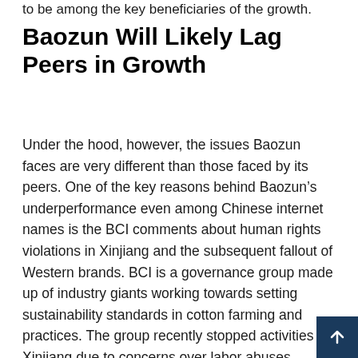to be among the key beneficiaries of the growth.
Baozun Will Likely Lag Peers in Growth
Under the hood, however, the issues Baozun faces are very different than those faced by its peers. One of the key reasons behind Baozun’s underperformance even among Chinese internet names is the BCI comments about human rights violations in Xinjiang and the subsequent fallout of Western brands. BCI is a governance group made up of industry giants working towards setting sustainability standards in cotton farming and practices. The group recently stopped activities in Xinjiang due to concerns over labor abuses. Chinese propaganda quickly ignited a boycott